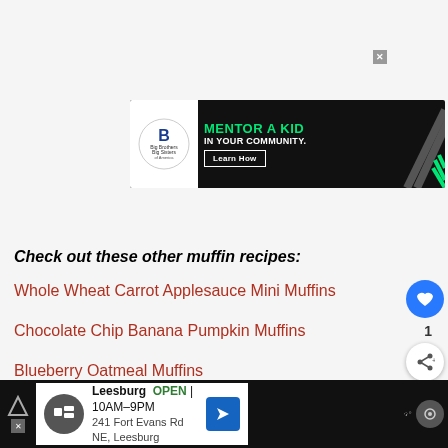[Figure (screenshot): Advertisement banner for Big Brothers Big Sisters: 'MENTOR A KID IN YOUR COMMUNITY.' with Learn How button on black background]
Check out these other muffin recipes:
Whole Wheat Carrot Applesauce Mini Muffins
Chocolate Chip Banana Pumpkin Muffins
Blueberry Oatmeal Muffins
[Figure (screenshot): Bottom navigation bar ad for Leesburg location: OPEN 10AM–9PM, 241 Fort Evans Rd NE, Leesburg]